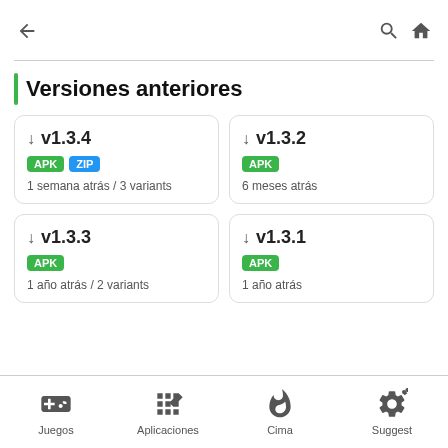← (back) | (search) (home)
Versiones anteriores
↓ v1.3.4 | APK ZIP | 1 semana atrás / 3 variants
↓ v1.3.2 | APK | 6 meses atrás
↓ v1.3.3 | APK | 1 año atrás / 2 variants
↓ v1.3.1 | APK | 1 año atrás
Juegos | Aplicaciones | Cima | Suggest